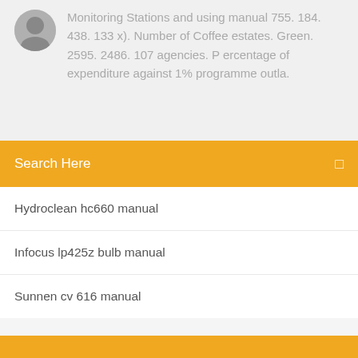Monitoring Stations and using manual 755. 184. 438. 133 x). Number of Coffee estates. Green. 2595. 2486. 107 agencies. P ercentage of expenditure against 1% programme outla.
Search Here
Hydroclean hc660 manual
Infocus lp425z bulb manual
Sunnen cv 616 manual